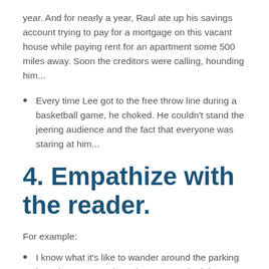year. And for nearly a year, Raul ate up his savings account trying to pay for a mortgage on this vacant house while paying rent for an apartment some 500 miles away. Soon the creditors were calling, hounding him...
Every time Lee got to the free throw line during a basketball game, he choked. He couldn't stand the jeering audience and the fact that everyone was staring at him...
4. Empathize with the reader.
For example:
I know what it's like to wander around the parking lot trying to remember where you parked the car. I know